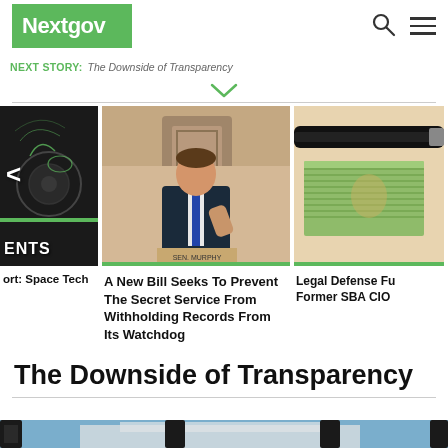Nextgov
NEXT STORY: The Downside of Transparency
[Figure (photo): Carousel with three panels: left panel showing dark tech/satellite imagery with 'ENTS' text overlay, center panel showing a senator at a hearing desk, right panel showing stacked dollar bills with a pen]
ort: Space Tech
A New Bill Seeks To Prevent The Secret Service From Withholding Records From Its Watchdog
Legal Defense Fu Former SBA CIO
The Downside of Transparency
[Figure (photo): Bottom image showing a fence with white building visible through bars, blue sky background]